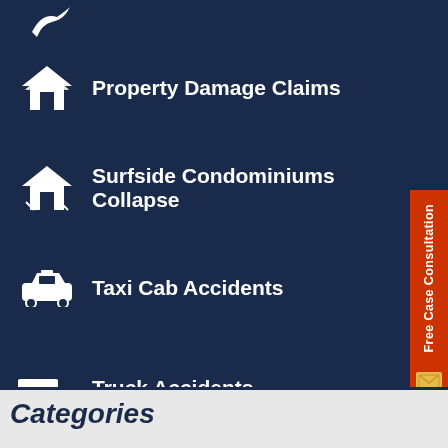Property Damage Claims
Surfside Condominiums Collapse
Taxi Cab Accidents
Truck Accidents
Uber & Lyft Ridesharing Accidents
Wrongful Death
Free Case Consultation
Categories